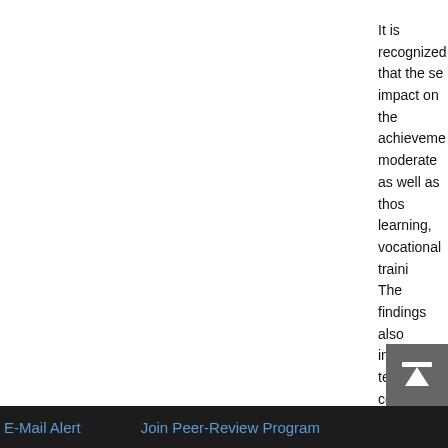It is recognized that the se... impact on the achievement... moderate as well as thos... learning, vocational trainin... The findings also indicate... terms of communication:... activities, interpersonal... responsibilities like manag...
Furthermore, both groups... well as maintaining good... to improve upon their dis... activities within the... future, same as an...
It is known that a... normal developme...
Top
ABSTRACT
INTRODUCTION
METHOD
RESULTS
DISCUSSION
E-Mail Alert   Join Peer-Review Program